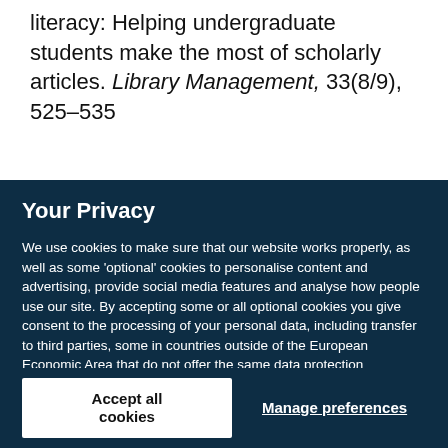literacy: Helping undergraduate students make the most of scholarly articles. Library Management, 33(8/9), 525–535
Your Privacy
We use cookies to make sure that our website works properly, as well as some 'optional' cookies to personalise content and advertising, provide social media features and analyse how people use our site. By accepting some or all optional cookies you give consent to the processing of your personal data, including transfer to third parties, some in countries outside of the European Economic Area that do not offer the same data protection standards as the country where you live. You can decide which optional cookies to accept by clicking on 'Manage Settings', where you can also find more information about how your personal data is processed. Further information can be found in our privacy policy.
Accept all cookies
Manage preferences